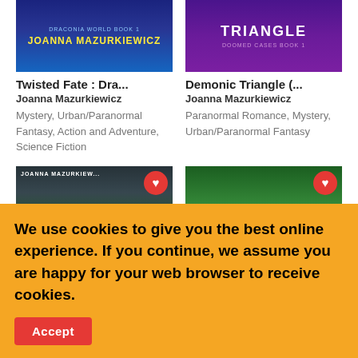[Figure (illustration): Book cover for Twisted Fate: Draconia World Book 1 by Joanna Mazurkiewicz — dark blue fantasy cover]
[Figure (illustration): Book cover for Demonic Triangle: Doomed Cases Book 1 by Joanna Mazurkiewicz — purple paranormal cover with title text]
Twisted Fate : Dra...
Joanna Mazurkiewicz
Mystery, Urban/Paranormal Fantasy, Action and Adventure, Science Fiction
Demonic Triangle (...
Joanna Mazurkiewicz
Paranormal Romance, Mystery, Urban/Paranormal Fantasy
[Figure (illustration): Book cover with a woman figure — Joanna Mazurkiewicz fantasy novel, forest background with heart/favorite button]
[Figure (illustration): Book cover with muscular man figure in green forest setting — fantasy novel with heart/favorite button]
We use cookies to give you the best online experience. If you continue, we assume you are happy for your web browser to receive cookies.
Accept